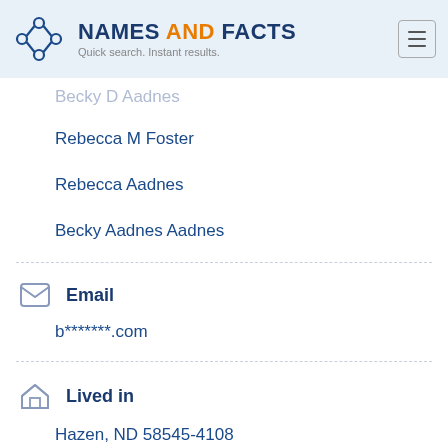NAMES AND FACTS — Quick search. Instant results.
Becky D Aadnes
Rebecca M Foster
Rebecca Aadnes
Becky Aadnes Aadnes
Email
b*******.com
Lived in
Hazen, ND 58545-4108
Bismarck, ND 58503-9773
Bismarck, ND 58501-5001